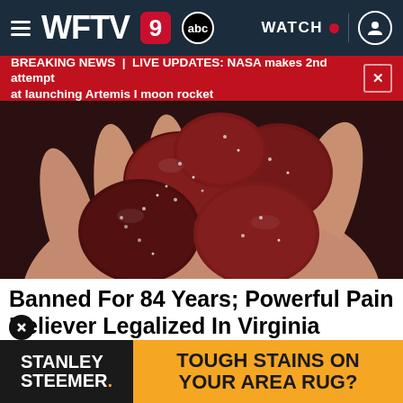WFTV 9 abc | WATCH
BREAKING NEWS | LIVE UPDATES: NASA makes 2nd attempt at launching Artemis I moon rocket
[Figure (photo): A hand holding several dark red sugar-coated gummy candies against a blurred background]
Banned For 84 Years; Powerful Pain Reliever Legalized In Virginia
Health Headlines | Sponsored
[Figure (advertisement): Stanley Steemer advertisement: TOUGH STAINS ON YOUR AREA RUG?]